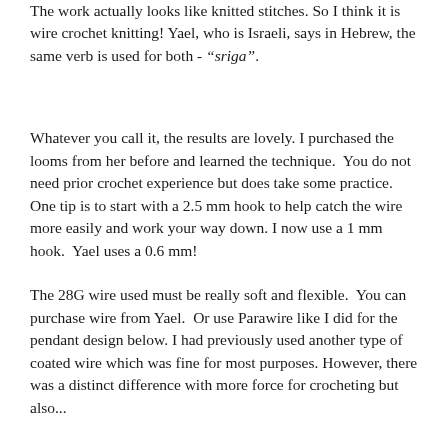The work actually looks like knitted stitches. So I think it is wire crochet knitting! Yael, who is Israeli, says in Hebrew, the same verb is used for both - “sriga”.
Whatever you call it, the results are lovely. I purchased the looms from her before and learned the technique. You do not need prior crochet experience but does take some practice. One tip is to start with a 2.5 mm hook to help catch the wire more easily and work your way down. I now use a 1 mm hook. Yael uses a 0.6 mm!
The 28G wire used must be really soft and flexible. You can purchase wire from Yael. Or use Parawire like I did for the pendant design below. I had previously used another type of coated wire which was fine for most purposes. However, there was a distinct difference with more force for crocheting but also...